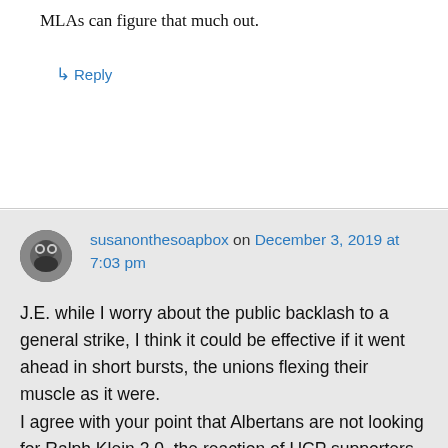MLAs can figure that much out.
↳ Reply
susanonthesoapbox on December 3, 2019 at 7:03 pm
J.E. while I worry about the public backlash to a general strike, I think it could be effective if it went ahead in short bursts, the unions flexing their muscle as it were. I agree with your point that Albertans are not looking for Ralph Klein 2.0, the reaction of UCP supporters to Kenney's austerity budget supports this conclusion. Also their patience will run out soon. They'll get tired of Kenney trying to blame the NDP and